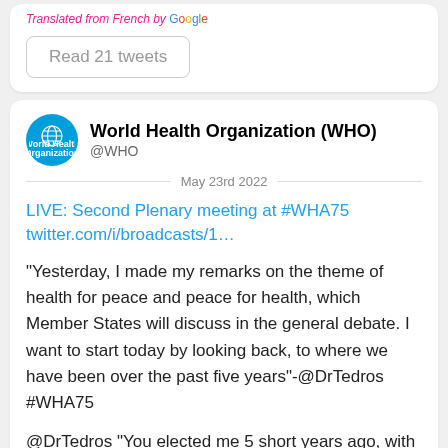Translated from French by Google
Read 21 tweets
World Health Organization (WHO)
@WHO
May 23rd 2022
LIVE: Second Plenary meeting at #WHA75 twitter.com/i/broadcasts/1…
"Yesterday, I made my remarks on the theme of health for peace and peace for health, which Member States will discuss in the general debate. I want to start today by looking back, to where we have been over the past five years"-@DrTedros #WHA75
@DrTedros "You elected me 5 short years ago, with an